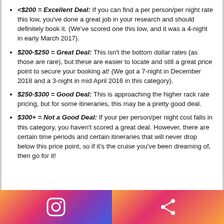<$200 = Excellent Deal: If you can find a per person/per night rate this low, you've done a great job in your research and should definitely book it. (We've scored one this low, and it was a 4-night in early March 2017).
$200-$250 = Great Deal: This isn't the bottom dollar rates (as those are rare), but these are easier to locate and still a great price point to secure your booking at! (We got a 7-night in December 2018 and a 3-night in mid April 2016 in this category).
$250-$300 = Good Deal: This is approaching the higher rack rate pricing, but for some itineraries, this may be a pretty good deal.
$300+ = Not a Good Deal: If your per person/per night cost falls in this category, you haven't scored a great deal. However, there are certain time periods and certain itineraries that will never drop below this price point, so if it's the cruise you've been dreaming of, then go for it!
[Figure (other): Footer bar with Instagram icon on left gradient background and share icon on right gradient background]